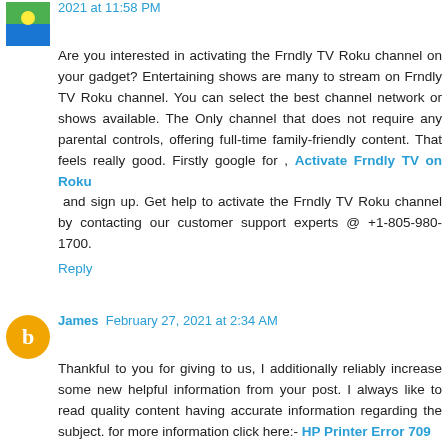2021 at 11:58 PM
Are you interested in activating the Frndly TV Roku channel on your gadget? Entertaining shows are many to stream on Frndly TV Roku channel. You can select the best channel network or shows available. The Only channel that does not require any parental controls, offering full-time family-friendly content. That feels really good. Firstly google for , Activate Frndly TV on Roku  and sign up. Get help to activate the Frndly TV Roku channel by contacting our customer support experts @ +1-805-980-1700.
Reply
James  February 27, 2021 at 2:34 AM
Thankful to you for giving to us, I additionally reliably increase some new helpful information from your post. I always like to read quality content having accurate information regarding the subject. for more information click here:- HP Printer Error 709
Reply